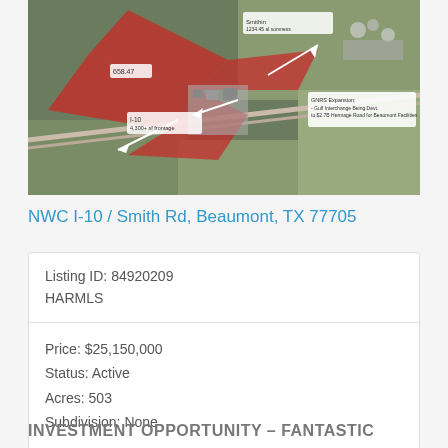[Figure (map): Aerial satellite map image of NWC I-10 / Smith Rd area in Beaumont, TX, showing a large red highlighted land parcel in an X/cross shape with white arrow annotations indicating property boundaries and nearby development. Labels include acreage, I-10 frontage, and GNRS Expansion notes.]
NWC I-10 / Smith Rd, Beaumont, TX 77705
| Listing ID: 84920209 |
| HARMLS |
| Price: $25,150,000 |
| Status: Active |
| Acres: 503 |
| Subdivision: None |
INVESTMENT OPPORTUNITY – FANTASTIC